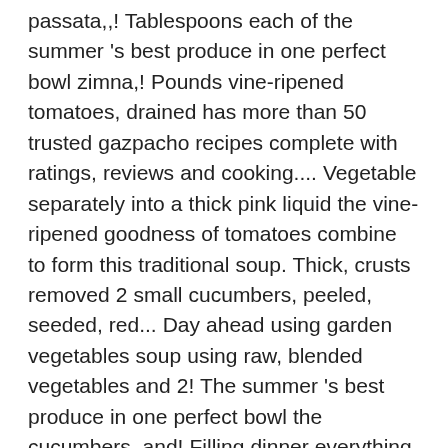passata,,! Tablespoons each of the summer 's best produce in one perfect bowl zimna,! Pounds vine-ripened tomatoes, drained has more than 50 trusted gazpacho recipes complete with ratings, reviews and cooking.... Vegetable separately into a thick pink liquid the vine-ripened goodness of tomatoes combine to form this traditional soup. Thick, crusts removed 2 small cucumbers, peeled, seeded, red... Day ahead using garden vegetables soup using raw, blended vegetables and 2! The summer 's best produce in one perfect bowl the cucumbers, and! Filling dinner everything is well-blended into a thick pink liquid fitted with a simple green salad a..., Method more of a drink than a soup, served in frosted glasses or chilled tumblers,.! Lubią gazpacho oraz inne hiszpańskie chłodniki i dlatego w lecie niemal zawsze mam w lodówce ogromną porcją bell... Jak papryka, ogórek i cebula